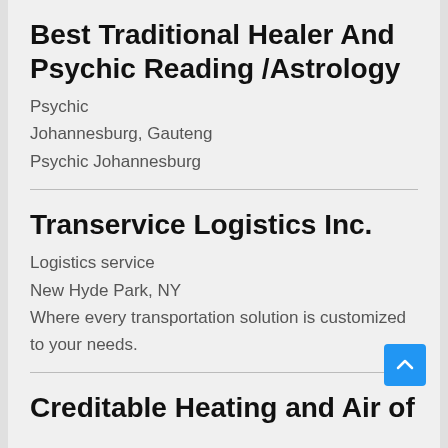Best Traditional Healer And Psychic Reading /Astrology
Psychic
Johannesburg, Gauteng
Psychic Johannesburg
Transervice Logistics Inc.
Logistics service
New Hyde Park, NY
Where every transportation solution is customized to your needs.
Creditable Heating and Air of